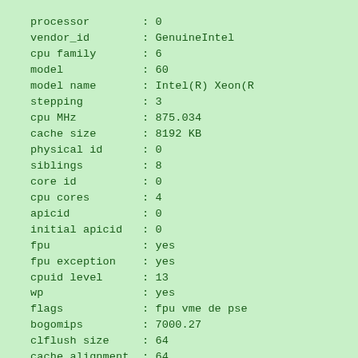processor        : 0
vendor_id        : GenuineIntel
cpu family       : 6
model            : 60
model name       : Intel(R) Xeon(R
stepping         : 3
cpu MHz          : 875.034
cache size       : 8192 KB
physical id      : 0
siblings         : 8
core id          : 0
cpu cores        : 4
apicid           : 0
initial apicid   : 0
fpu              : yes
fpu exception    : yes
cpuid level      : 13
wp               : yes
flags            : fpu vme de pse
bogomips         : 7000.27
clflush size     : 64
cache_alignment  : 64
address sizes    : 39 bits physica
power management:

processor        : 1
vendor_id        : GenuineIntel